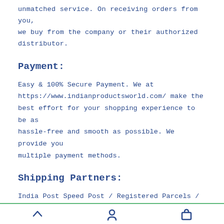unmatched service. On receiving orders from you, we buy from the company or their authorized distributor.
Payment:
Easy & 100% Secure Payment. We at https://www.indianproductsworld.com/ make the best effort for your shopping experience to be as hassle-free and smooth as possible. We provide you multiple payment methods.
Shipping Partners:
India Post Speed Post / Registered Parcels / International Courier Partners [ Blue Dart, FedEx, DHL, TNT, Garuda ]